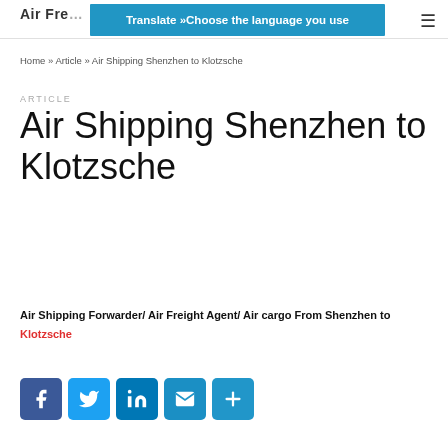Translate »Choose the language you use
Home » Article » Air Shipping Shenzhen to Klotzsche
ARTICLE
Air Shipping Shenzhen to Klotzsche
Air Shipping Forwarder/ Air Freight Agent/ Air cargo From Shenzhen to Klotzsche
[Figure (other): Social share buttons: Facebook, Twitter, LinkedIn, Email, More]